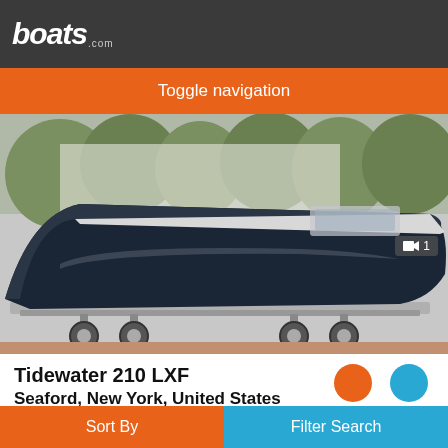boats.com
Toggle navigation
[Figure (photo): A dark navy/black Tidewater 210 LXF boat on a silver dual-axle trailer, photographed from the side in what appears to be a parking or storage lot with trees in the background. The boat hull is sleek and modern.]
Tidewater 210 LXF
Seaford, New York, United States
2022
Request Price
Sort By   Filter Search